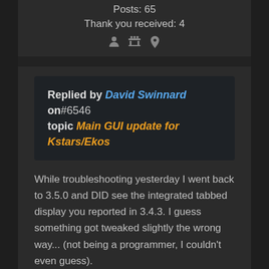Posts: 65
Thank you received: 4
[Figure (illustration): Three small gray icons: person, group/table, and location pin]
Replied by David Swinnard on #6546 topic Main GUI update for Kstars/Ekos
While troubleshooting yesterday I went back to 3.5.0 and DID see the integrated tabbed display you reported in 3.4.3. I guess something got tweaked slightly the wrong way... (not being a programmer, I couldn't even guess).